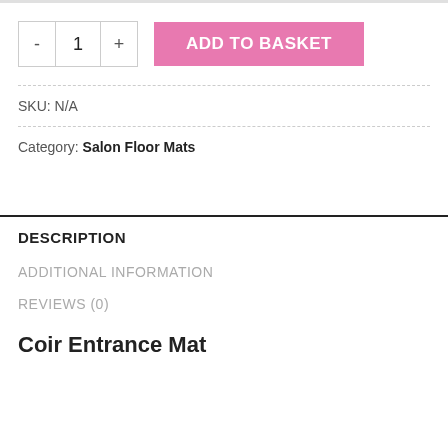[Figure (screenshot): E-commerce product page UI showing quantity selector with minus, 1, plus buttons and pink ADD TO BASKET button]
SKU: N/A
Category: Salon Floor Mats
DESCRIPTION
ADDITIONAL INFORMATION
REVIEWS (0)
Coir Entrance Mat